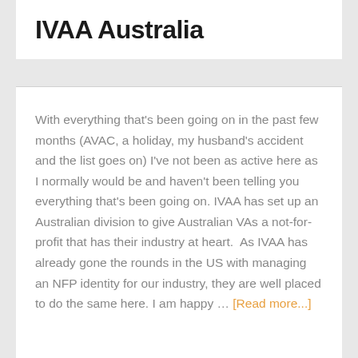IVAA Australia
With everything that's been going on in the past few months (AVAC, a holiday, my husband's accident and the list goes on) I've not been as active here as I normally would be and haven't been telling you everything that's been going on. IVAA has set up an Australian division to give Australian VAs a not-for-profit that has their industry at heart.  As IVAA has already gone the rounds in the US with managing an NFP identity for our industry, they are well placed to do the same here. I am happy … [Read more...]